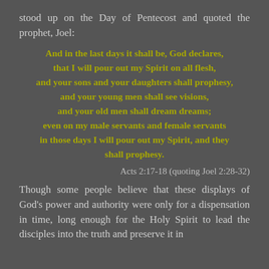stood up on the Day of Pentecost and quoted the prophet, Joel:
And in the last days it shall be, God declares, that I will pour out my Spirit on all flesh, and your sons and your daughters shall prophesy, and your young men shall see visions, and your old men shall dream dreams; even on my male servants and female servants in those days I will pour out my Spirit, and they shall prophesy.
Acts 2:17-18 (quoting Joel 2:28-32)
Though some people believe that these displays of God's power and authority were only for a dispensation in time, long enough for the Holy Spirit to lead the disciples into the truth and preserve it in